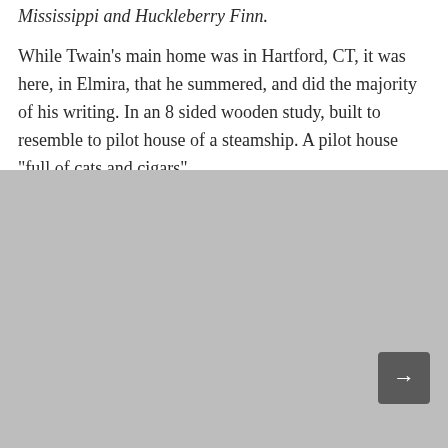Mississippi and Huckleberry Finn.
While Twain's main home was in Hartford, CT, it was here, in Elmira, that he summered, and did the majority of his writing. In an 8 sided wooden study, built to resemble to pilot house of a steamship. A pilot house “full of cats and cigars”.
[Figure (photo): Gray placeholder image filling the lower portion of the page]